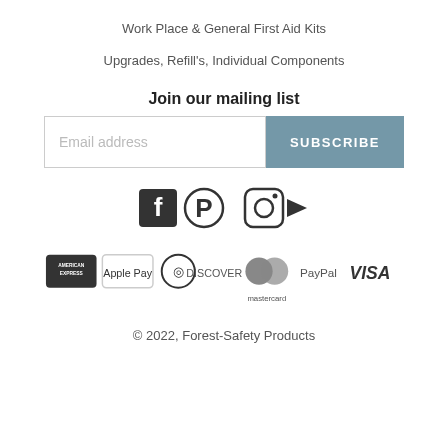Work Place & General First Aid Kits
Upgrades, Refill's, Individual Components
Join our mailing list
Email address
SUBSCRIBE
[Figure (infographic): Social media icons: Facebook, Pinterest, Instagram, YouTube]
[Figure (infographic): Payment method icons: American Express, Apple Pay, Diners Club, Discover, Mastercard, PayPal, Visa]
© 2022, Forest-Safety Products